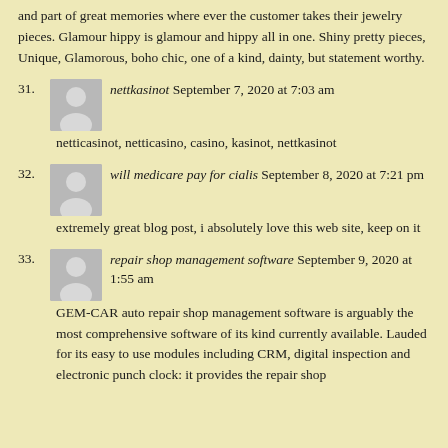and part of great memories where ever the customer takes their jewelry pieces. Glamour hippy is glamour and hippy all in one. Shiny pretty pieces, Unique, Glamorous, boho chic, one of a kind, dainty, but statement worthy.
31. nettkasinot September 7, 2020 at 7:03 am
netticasinot, netticasino, casino, kasinot, nettkasinot
32. will medicare pay for cialis September 8, 2020 at 7:21 pm
extremely great blog post, i absolutely love this web site, keep on it
33. repair shop management software September 9, 2020 at 1:55 am
GEM-CAR auto repair shop management software is arguably the most comprehensive software of its kind currently available. Lauded for its easy to use modules including CRM, digital inspection and electronic punch clock: it provides the repair shop